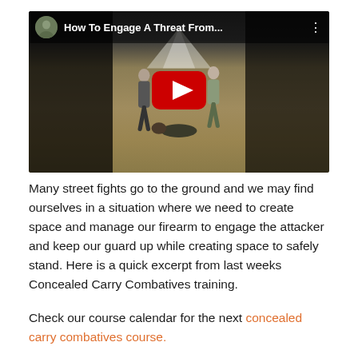[Figure (screenshot): YouTube video thumbnail titled 'How To Engage A Threat From...' showing two people in a field, one standing and one on the ground, with a red YouTube play button overlay and a channel avatar in the top-left corner.]
Many street fights go to the ground and we may find ourselves in a situation where we need to create space and manage our firearm to engage the attacker and keep our guard up while creating space to safely stand. Here is a quick excerpt from last weeks Concealed Carry Combatives training.
Check our course calendar for the next concealed carry combatives course.